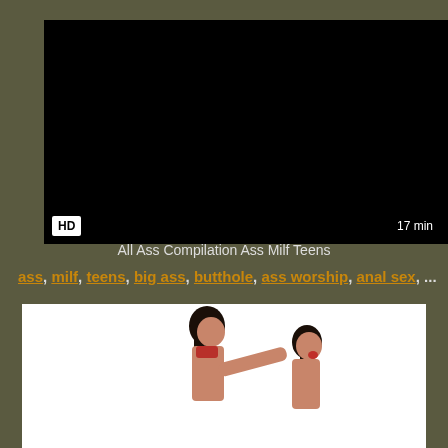[Figure (screenshot): Black video player area with HD badge bottom-left and 17 min badge bottom-right]
All Ass Compilation Ass Milf Teens
ass, milf, teens, big ass, butthole, ass worship, anal sex, ...
[Figure (photo): Two women on white background]